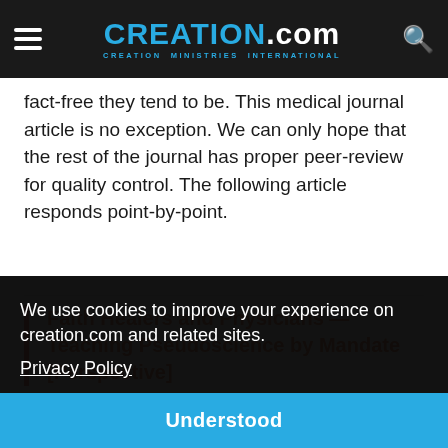CREATION.com — CREATION MINISTRIES INTERNATIONAL
fact-free they tend to be. This medical journal article is no exception. We can only hope that the rest of the journal has proper peer-review for quality control. The following article responds point-by-point.
Faith Healers and Physicians — Teaching Pseudoscience by Mandate [Perspective]
...onists ...ching ...ry ...s: a ...be forced to teach creation, who would be likely to mock or
We use cookies to improve your experience on creation.com and related sites.
Privacy Policy
Understood